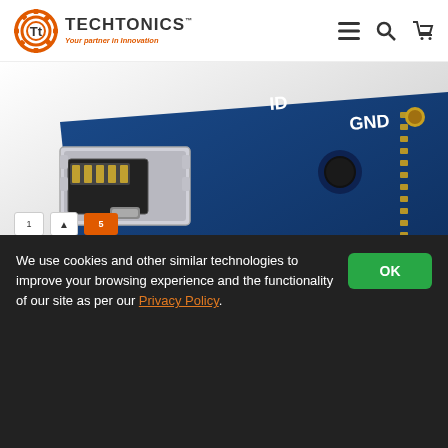[Figure (logo): Techtonics logo with gear icon and tagline 'Your partner in Innovation']
[Figure (photo): Close-up photo of a Micro USB breadboard 5V power supply module PCB showing the micro USB port and circuit board with GND and ID labels]
TECH7452
MCU-Micro USB Breadboard 5V Power Supply Module
We use cookies and other similar technologies to improve your browsing experience and the functionality of our site as per our Privacy Policy.